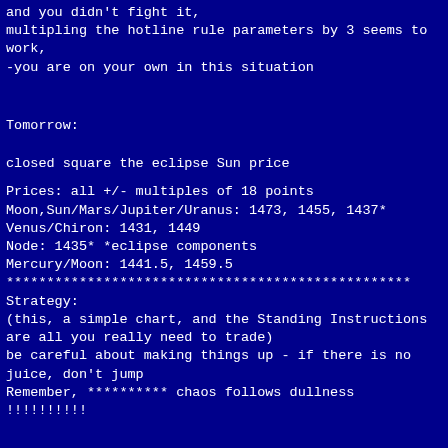and you didn't fight it,
multipling the hotline rule parameters by 3 seems to work,
-you are on your own in this situation
Tomorrow:
closed square the eclipse Sun price
Prices: all +/- multiples of 18 points
Moon,Sun/Mars/Jupiter/Uranus: 1473, 1455, 1437*
Venus/Chiron: 1431, 1449
Node: 1435* *eclipse components
Mercury/Moon: 1441.5, 1459.5
**************************************************
Strategy:
(this, a simple chart, and the Standing Instructions
are all you really need to trade)
be careful about making things up - if there is no juice, don't jump
Remember, ********** chaos follows dullness !!!!!!!!!!
<***> MoonTide Times and Trade Times<***> For trade times before as published on daytrading forecasts.com in the tutorial): These fit a points of the 110 minute EXMA, taking profits on a 12 point range. given. Be alert for the turn coming early or late. Be patient and use t